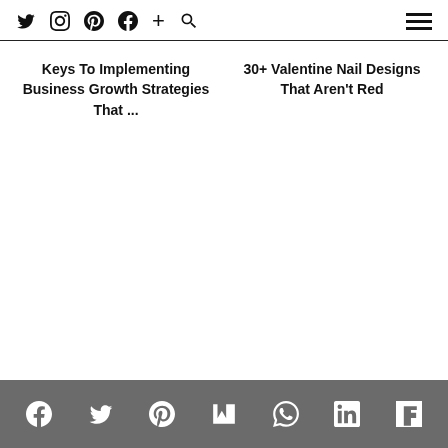Twitter Instagram Pinterest Facebook + Search | Menu
Keys To Implementing Business Growth Strategies That ...
30+ Valentine Nail Designs That Aren't Red
Facebook Twitter Pinterest Mix WhatsApp LinkedIn Flipboard